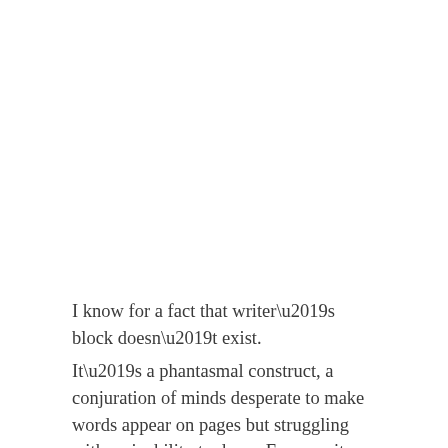I know for a fact that writer’s block doesn’t exist.
It’s a phantasmal construct, a conjuration of minds desperate to make words appear on pages but struggling with an inability to do so. Every writer, from the